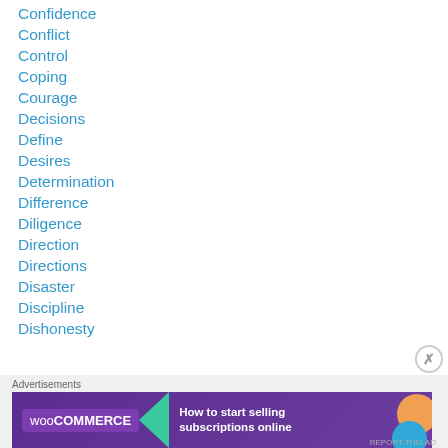Confidence
Conflict
Control
Coping
Courage
Decisions
Define
Desires
Determination
Difference
Diligence
Direction
Directions
Disaster
Discipline
Dishonesty
[Figure (infographic): WooCommerce advertisement banner: purple background with WooCommerce logo and arrow, text 'How to start selling subscriptions online', orange and blue decorative circles]